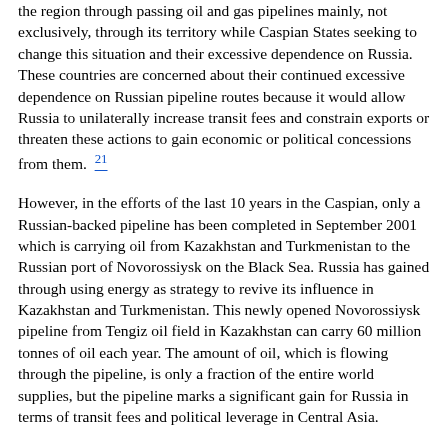the region through passing oil and gas pipelines mainly, not exclusively, through its territory while Caspian States seeking to change this situation and their excessive dependence on Russia. These countries are concerned about their continued excessive dependence on Russian pipeline routes because it would allow Russia to unilaterally increase transit fees and constrain exports or threaten these actions to gain economic or political concessions from them. 21
However, in the efforts of the last 10 years in the Caspian, only a Russian-backed pipeline has been completed in September 2001 which is carrying oil from Kazakhstan and Turkmenistan to the Russian port of Novorossiysk on the Black Sea. Russia has gained through using energy as strategy to revive its influence in Kazakhstan and Turkmenistan. This newly opened Novorossiysk pipeline from Tengiz oil field in Kazakhstan can carry 60 million tonnes of oil each year. The amount of oil, which is flowing through the pipeline, is only a fraction of the entire world supplies, but the pipeline marks a significant gain for Russia in terms of transit fees and political leverage in Central Asia.
Western Routes
The western routes for transporting oil and gas from the region are